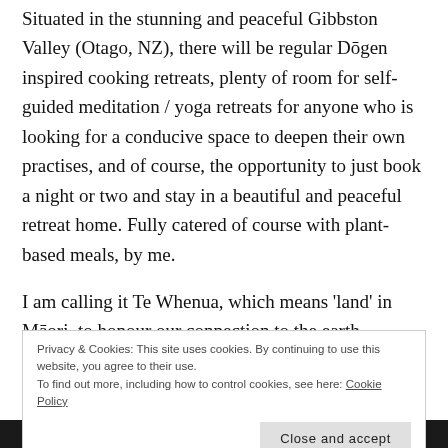Situated in the stunning and peaceful Gibbston Valley (Otago, NZ), there will be regular Dōgen inspired cooking retreats, plenty of room for self-guided meditation / yoga retreats for anyone who is looking for a conducive space to deepen their own practises, and of course, the opportunity to just book a night or two and stay in a beautiful and peaceful retreat home. Fully catered of course with plant-based meals, by me.
I am calling it Te Whenua, which means 'land' in Māori, to honour our connection to the earth.
Privacy & Cookies: This site uses cookies. By continuing to use this website, you agree to their use. To find out more, including how to control cookies, see here: Cookie Policy
Close and accept